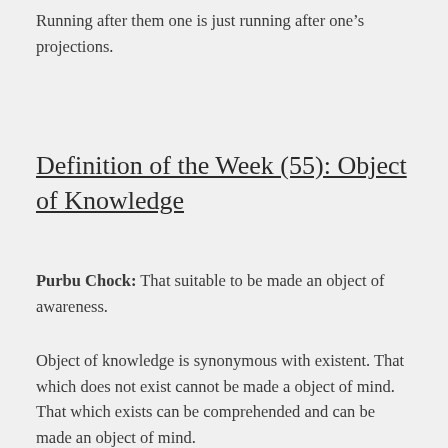Running after them one is just running after one's projections.
Definition of the Week (55): Object of Knowledge
Purbu Chock: That suitable to be made an object of awareness.
Object of knowledge is synonymous with existent. That which does not exist cannot be made a object of mind. That which exists can be comprehended and can be made an object of mind.